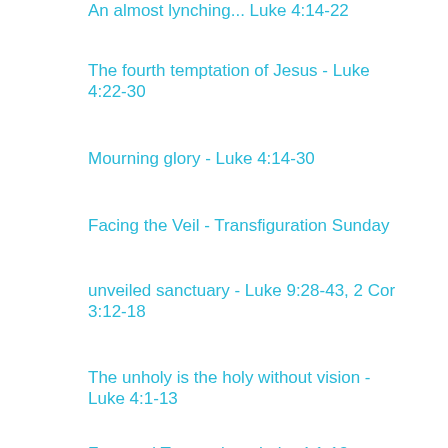An almost lynching... Luke 4:14-22
The fourth temptation of Jesus - Luke 4:22-30
Mourning glory - Luke 4:14-30
Facing the Veil - Transfiguration Sunday
unveiled sanctuary - Luke 9:28-43, 2 Cor 3:12-18
The unholy is the holy without vision - Luke 4:1-13
Fear and Temptation - Luke 4:1-13
To whom do you belong, and to what do you lay claim? - Luke 13:31-35
Looking for someone to blame... a